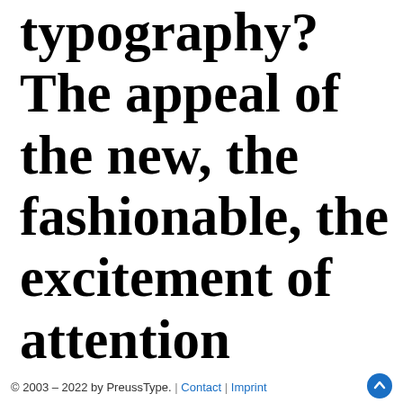typography? The appeal of the new, the fashionable, the excitement of attention through shocks, provocation and the unfamiliar.
© 2003 – 2022 by PreussType. | Contact | Imprint